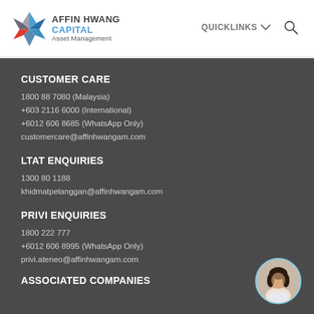AFFIN HWANG CAPITAL Asset Management | QUICKLINKS
CUSTOMER CARE
1800 88 7080 (Malaysia)
+603 2116 6000 (International)
+6012 606 8685 (WhatsApp Only)
customercare@affinhwangam.com
LTAT ENQUIRIES
1300 80 1188
khidmatpelanggan@affinhwangam.com
PRIVI ENQUIRIES
1800 222 777
+6012 606 8995 (WhatsApp Only)
privi.ateneo@affinhwangam.com
ASSOCIATED COMPANIES
[Figure (photo): Circular avatar photo of a woman with dark hair, framed with a light blue/cyan circular border]